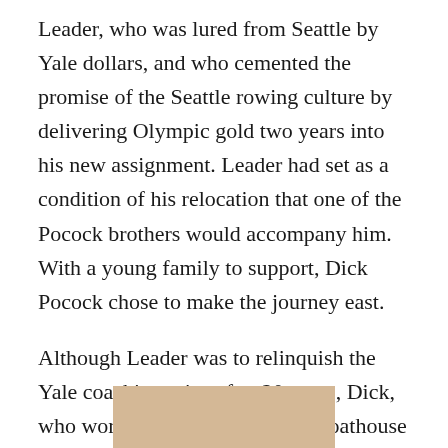Leader, who was lured from Seattle by Yale dollars, and who cemented the promise of the Seattle rowing culture by delivering Olympic gold two years into his new assignment. Leader had set as a condition of his relocation that one of the Pocock brothers would accompany him. With a young family to support, Dick Pocock chose to make the journey east.
Although Leader was to relinquish the Yale coaching reins after 20 years, Dick, who worked out of Yale's Adee boathouse on New Haven harbor, served as Yale's principal boat-builder and rigger over that period, and then as a boatman and coach for the intramural crews who rowed on the West River lagoon (and were known as Pocock's Pokers) well into the early 1960s.
[Figure (photo): Bottom portion of a vintage photograph showing a tan/beige background, partially visible.]